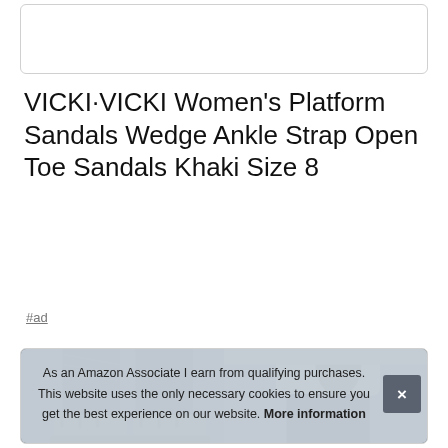[Figure (photo): Empty white card/box at top of page]
VICKI·VICKI Women's Platform Sandals Wedge Ankle Strap Open Toe Sandals Khaki Size 8
#ad
[Figure (photo): Two product photos of women's platform sandals/wedge ankle strap sandals, showing close-up of feet and ankles wearing dark jeans and the sandals]
As an Amazon Associate I earn from qualifying purchases. This website uses the only necessary cookies to ensure you get the best experience on our website. More information